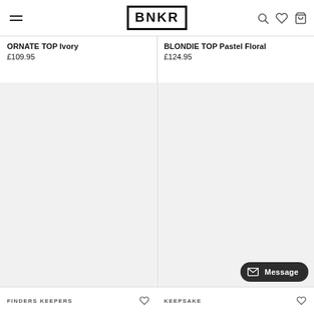BNKR
ORNATE TOP Ivory
£109.95
BLONDIE TOP Pastel Floral
£124.95
[Figure (other): Product image placeholder left - light grey background]
[Figure (other): Product image placeholder right - light grey background]
FINDERS KEEPERS
KEEPSAKE